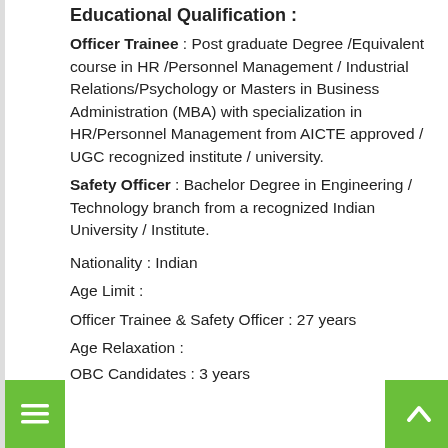Educational Qualification :
Officer Trainee : Post graduate Degree /Equivalent course in HR /Personnel Management / Industrial Relations/Psychology or Masters in Business Administration (MBA) with specialization in HR/Personnel Management from AICTE approved / UGC recognized institute / university.
Safety Officer : Bachelor Degree in Engineering / Technology branch from a recognized Indian University / Institute.
Nationality : Indian
Age Limit :
Officer Trainee & Safety Officer : 27 years
Age Relaxation :
OBC Candidates : 3 years